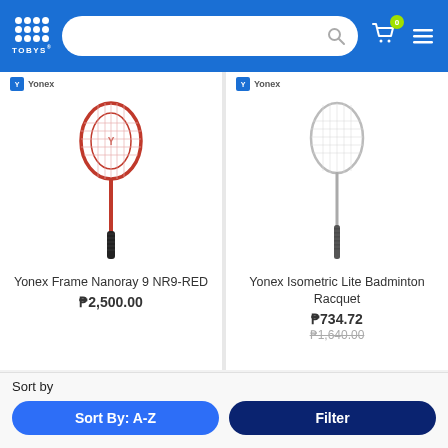[Figure (screenshot): Tobys sports app header with logo, search bar, cart icon with badge showing 0, and hamburger menu]
[Figure (photo): Yonex Frame Nanoray 9 NR9-RED badminton racquet - red frame with Yonex logo]
Yonex Frame Nanoray 9 NR9-RED
₱2,500.00
[Figure (photo): Yonex Isometric Lite Badminton Racquet - white/silver frame]
Yonex Isometric Lite Badminton Racquet
₱734.72
₱1,640.00
Sort by
Sort By: A-Z
Filter